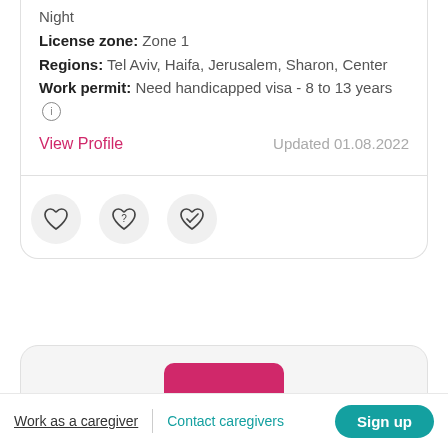Night
License zone: Zone 1
Regions: Tel Aviv, Haifa, Jerusalem, Sharon, Center
Work permit: Need handicapped visa - 8 to 13 years (i)
View Profile
Updated 01.08.2022
[Figure (illustration): Three heart icon buttons in circles: plain heart, heart with question mark, heart with checkmark/pen]
[Figure (illustration): Pink/magenta rounded rectangle button partially visible]
Work as a caregiver | Contact caregivers  Sign up